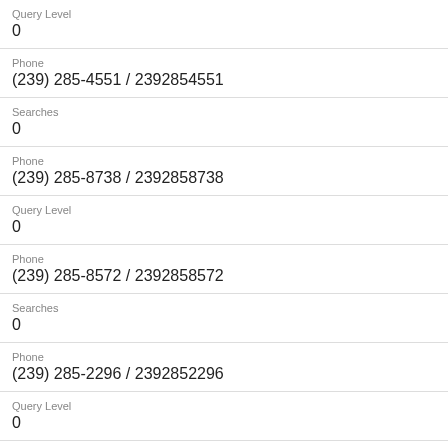Query Level
0
Phone
(239) 285-4551 / 2392854551
Searches
0
Phone
(239) 285-8738 / 2392858738
Query Level
0
Phone
(239) 285-8572 / 2392858572
Searches
0
Phone
(239) 285-2296 / 2392852296
Query Level
0
Phone